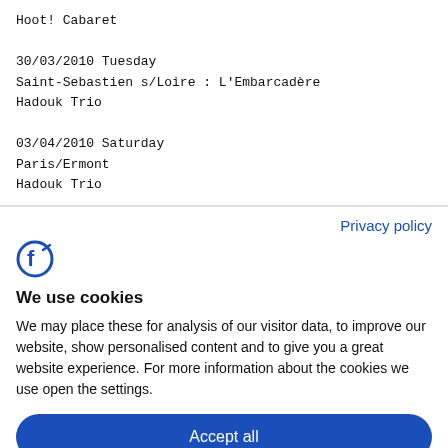Hoot! Cabaret

30/03/2010 Tuesday
Saint-Sebastien s/Loire : L'Embarcadère
Hadouk Trio

03/04/2010 Saturday
Paris/Ermont
Hadouk Trio
Privacy policy
[Figure (logo): Blue stylized letter F logo for cookie consent banner]
We use cookies
We may place these for analysis of our visitor data, to improve our website, show personalised content and to give you a great website experience. For more information about the cookies we use open the settings.
Accept all
Deny
No, adjust